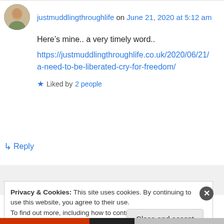justmuddlingthroughlife on June 21, 2020 at 5:12 am
Here’s mine.. a very timely word..
https://justmuddlingthroughlife.co.uk/2020/06/21/a-need-to-be-liberated-cry-for-freedom/
★ Liked by 2 people
↵ Reply
Privacy & Cookies: This site uses cookies. By continuing to use this website, you agree to their use.
To find out more, including how to control cookies, see here: Cookie Policy
Close and accept